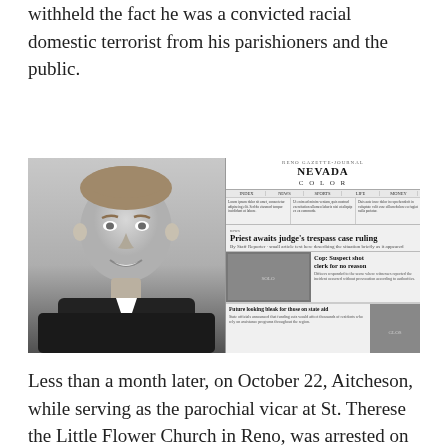withheld the fact he was a convicted racial domestic terrorist from his parishioners and the public.
[Figure (photo): Left: black-and-white portrait photo of a middle-aged priest in clerical collar, smiling. Right: front page of a Nevada newspaper with headline 'Priest awaits judge's trespass case ruling' and secondary headline 'Cop: Suspect shot clerk for no reason' and 'Future looking bleak for those on state aid'.]
Less than a month later, on October 22, Aitcheson, while serving as the parochial vicar at St. Therese the Little Flower Church in Reno, was arrested on charges of trespassing on the